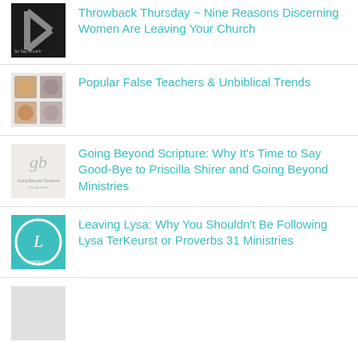Throwback Thursday ~ Nine Reasons Discerning Women Are Leaving Your Church
Popular False Teachers & Unbiblical Trends
Going Beyond Scripture: Why It's Time to Say Good-Bye to Priscilla Shirer and Going Beyond Ministries
Leaving Lysa: Why You Shouldn't Be Following Lysa TerKeurst or Proverbs 31 Ministries